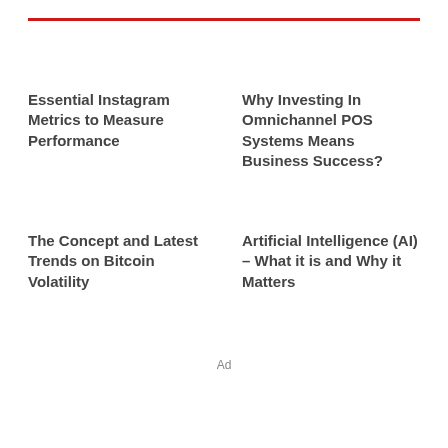Essential Instagram Metrics to Measure Performance
Why Investing In Omnichannel POS Systems Means Business Success?
The Concept and Latest Trends on Bitcoin Volatility
Artificial Intelligence (AI) – What it is and Why it Matters
Ad